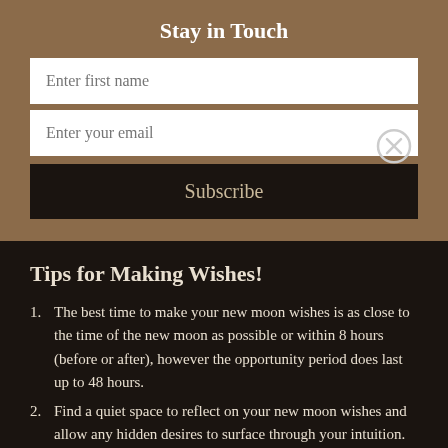Stay in Touch
[Figure (screenshot): Email subscription form with 'Enter first name' and 'Enter your email' input fields, a 'Subscribe' button, and a close (X) button]
Tips for Making Wishes!
The best time to make your new moon wishes is as close to the time of the new moon as possible or within 8 hours (before or after), however the opportunity period does last up to 48 hours.
Find a quiet space to reflect on your new moon wishes and allow any hidden desires to surface through your intuition. You might be surprised at what